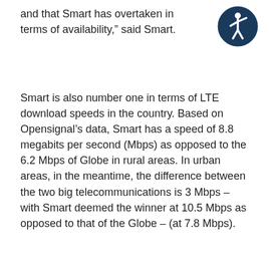and that Smart has overtaken in terms of availability,” said Smart.
[Figure (logo): Accessibility icon: dark blue circle with a white stylized person figure (stick figure with raised arm)]
Smart is also number one in terms of LTE download speeds in the country. Based on Opensignal’s data, Smart has a speed of 8.8 megabits per second (Mbps) as opposed to the 6.2 Mbps of Globe in rural areas. In urban areas, in the meantime, the difference between the two big telecommunications is 3 Mbps – with Smart deemed the winner at 10.5 Mbps as opposed to that of the Globe – (at 7.8 Mbps).